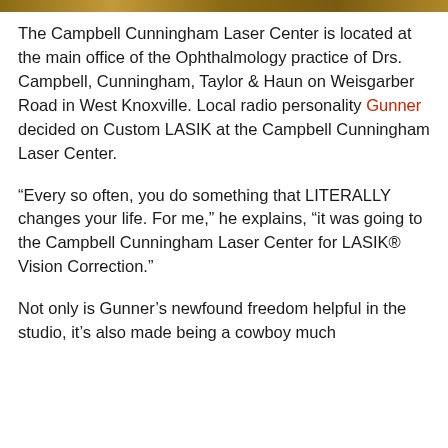[Figure (photo): Partial image visible at the top of the page, appears to be a photo strip.]
The Campbell Cunningham Laser Center is located at the main office of the Ophthalmology practice of Drs. Campbell, Cunningham, Taylor & Haun on Weisgarber Road in West Knoxville. Local radio personality Gunner decided on Custom LASIK at the Campbell Cunningham Laser Center.
“Every so often, you do something that LITERALLY changes your life. For me,” he explains, “it was going to the Campbell Cunningham Laser Center for LASIK® Vision Correction.”
Not only is Gunner’s newfound freedom helpful in the studio, it’s also made being a cowboy much